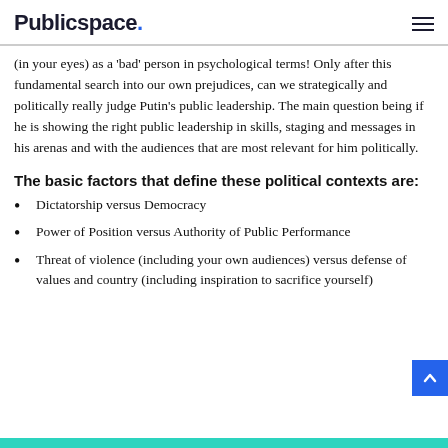Publicspace.
(in your eyes) as a ‘bad’ person in psychological terms! Only after this fundamental search into our own prejudices, can we strategically and politically really judge Putin’s public leadership. The main question being if he is showing the right public leadership in skills, staging and messages in his arenas and with the audiences that are most relevant for him politically.
The basic factors that define these political contexts are:
Dictatorship versus Democracy
Power of Position versus Authority of Public Performance
Threat of violence (including your own audiences) versus defense of values and country (including inspiration to sacrifice yourself)